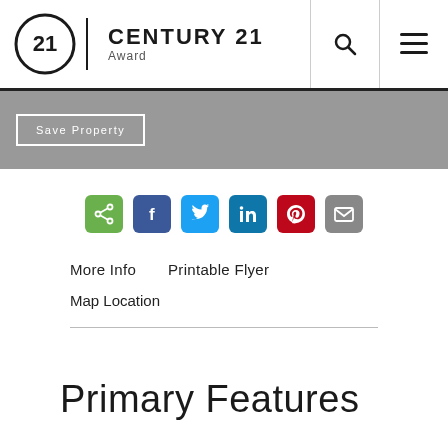CENTURY 21 Award
Save Property
[Figure (other): Social sharing icons row: share (green), Facebook (blue), Twitter (light blue), LinkedIn (dark blue), Pinterest (red), Email (gray)]
More Info   Printable Flyer
Map Location
Primary Features